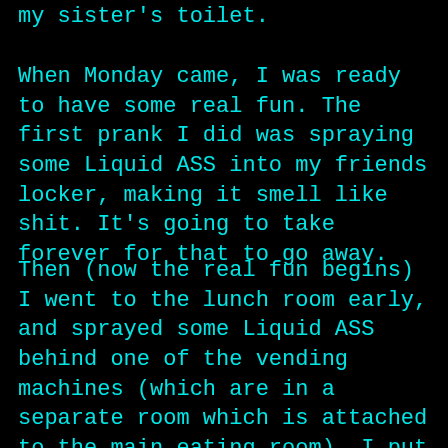my sister's toilet.
When Monday came, I was ready to have some real fun. The first prank I did was spraying some Liquid ASS into my friends locker, making it smell like shit. It's going to take forever for that to go away.
Then (now the real fun begins) I went to the lunch room early, and sprayed some Liquid ASS behind one of the vending machines (which are in a separate room which is attached to the main eating room). I put about two squeezes behind the machine, bought my Dr. Pepper and got the hell out of there. About 5 minutes later,